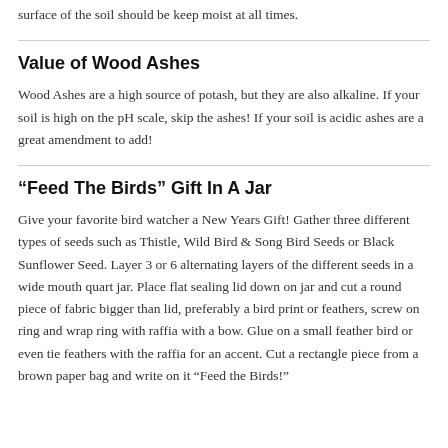surface of the soil should be keep moist at all times.
Value of Wood Ashes
Wood Ashes are a high source of potash, but they are also alkaline. If your soil is high on the pH scale, skip the ashes! If your soil is acidic ashes are a great amendment to add!
“Feed The Birds” Gift In A Jar
Give your favorite bird watcher a New Years Gift! Gather three different types of seeds such as Thistle, Wild Bird & Song Bird Seeds or Black Sunflower Seed. Layer 3 or 6 alternating layers of the different seeds in a wide mouth quart jar. Place flat sealing lid down on jar and cut a round piece of fabric bigger than lid, preferably a bird print or feathers, screw on ring and wrap ring with raffia with a bow. Glue on a small feather bird or even tie feathers with the raffia for an accent. Cut a rectangle piece from a brown paper bag and write on it “Feed the Birds!”